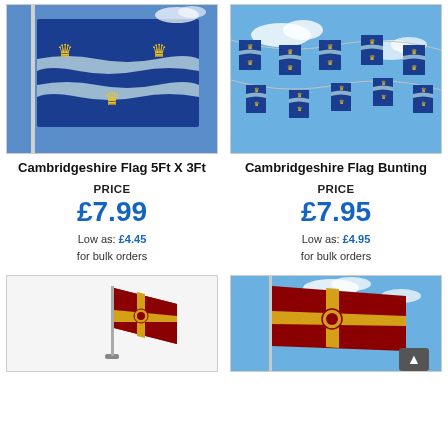[Figure (photo): Cambridgeshire Flag 5Ft X 3Ft flying on a flagpole against blue sky]
[Figure (photo): Cambridgeshire Flag Bunting string of flags against blue sky with clouds]
Cambridgeshire Flag 5Ft X 3Ft
Cambridgeshire Flag Bunting
PRICE £7.99 Low as: £4.45 for bulk orders
PRICE £7.95 Low as: £4.95 for bulk orders
[Figure (photo): Small desk flag with Northamptonshire design on white background]
[Figure (photo): Large Northamptonshire flag on flagpole against blue sky]